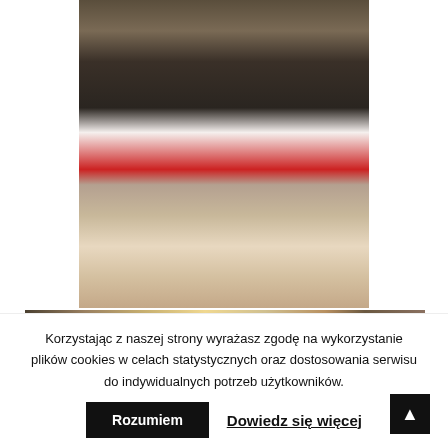[Figure (photo): People in black robes holding a Polish flag inside a church during a ceremony, pews visible in the background with attendees wearing masks]
[Figure (photo): Interior of a church with stained glass windows and people gathered, partially visible]
Korzystając z naszej strony wyrażasz zgodę na wykorzystanie plików cookies w celach statystycznych oraz dostosowania serwisu do indywidualnych potrzeb użytkowników.
Rozumiem
Dowiedz się więcej